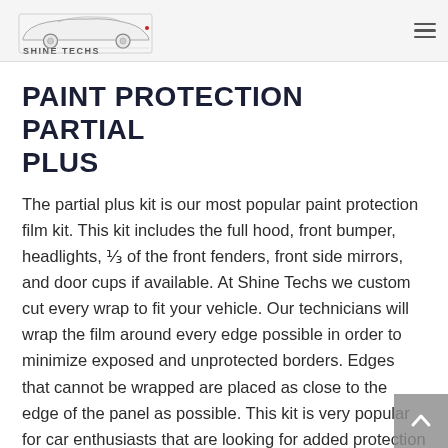Shine Techs [logo] [hamburger menu]
PAINT PROTECTION PARTIAL PLUS
The partial plus kit is our most popular paint protection film kit. This kit includes the full hood, front bumper, headlights, ⅓ of the front fenders, front side mirrors, and door cups if available. At Shine Techs we custom cut every wrap to fit your vehicle. Our technicians will wrap the film around every edge possible in order to minimize exposed and unprotected borders. Edges that cannot be wrapped are placed as close to the edge of the panel as possible. This kit is very popular for car enthusiasts that are looking for added protection to select parts of their vehicle without going full front or full car. The rocker panel kit is